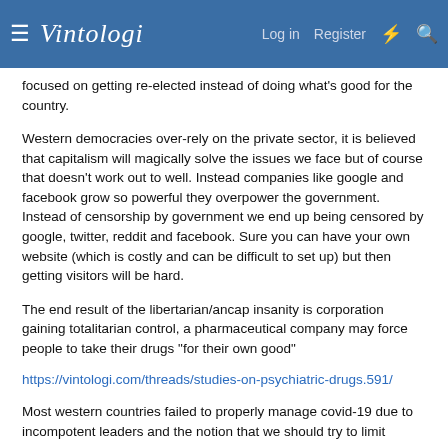≡ Vintologi | Log in | Register | ⚡ | 🔍
focused on getting re-elected instead of doing what's good for the country.
Western democracies over-rely on the private sector, it is believed that capitalism will magically solve the issues we face but of course that doesn't work out to well. Instead companies like google and facebook grow so powerful they overpower the government. Instead of censorship by government we end up being censored by google, twitter, reddit and facebook. Sure you can have your own website (which is costly and can be difficult to set up) but then getting visitors will be hard.
The end result of the libertarian/ancap insanity is corporation gaining totalitarian control, a pharmaceutical company may force people to take their drugs "for their own good"
https://vintologi.com/threads/studies-on-psychiatric-drugs.591/
Most western countries failed to properly manage covid-19 due to incompotent leaders and the notion that we should try to limit